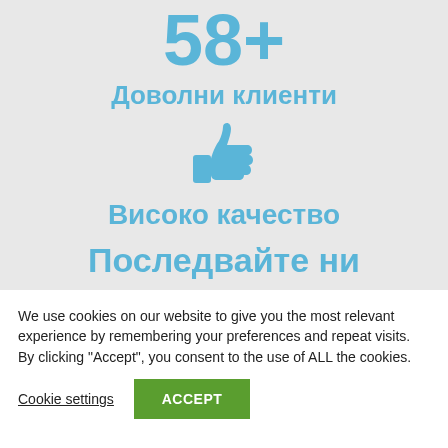58+
Доволни клиенти
[Figure (illustration): Thumbs up icon in light blue]
Високо качество
Последвайте ни
We use cookies on our website to give you the most relevant experience by remembering your preferences and repeat visits. By clicking "Accept", you consent to the use of ALL the cookies.
Cookie settings
ACCEPT